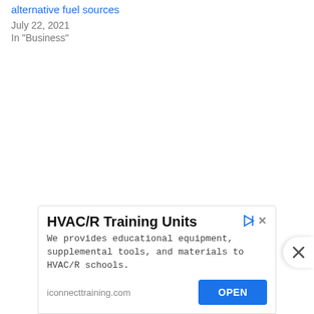alternative fuel sources
July 22, 2021
In "Business"
[Figure (screenshot): Close/X button on the right side of the page]
[Figure (screenshot): Advertisement banner for HVAC/R Training Units with title, description, URL iconnecttraining.com and OPEN button]